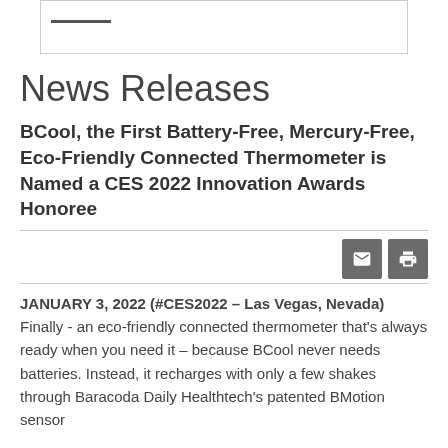News Releases
BCool, the First Battery-Free, Mercury-Free, Eco-Friendly Connected Thermometer is Named a CES 2022 Innovation Awards Honoree
JANUARY 3, 2022 (#CES2022 – Las Vegas, Nevada) Finally - an eco-friendly connected thermometer that's always ready when you need it – because BCool never needs batteries. Instead, it recharges with only a few shakes through Baracoda Daily Healthtech's patented BMotion sensor